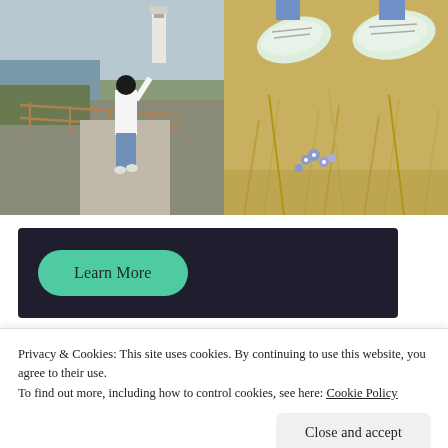[Figure (photo): Photo of a woman in white top and blue jeans walking away on a coastal path with a lighthouse and railings in the background]
[Figure (photo): Close-up photo of white sneakers/Converse shoes among dry grass and small blue wildflowers, shot from above]
[Figure (other): Dark navy banner with a teal 'Learn More' rounded button on the left side]
Privacy & Cookies: This site uses cookies. By continuing to use this website, you agree to their use.
To find out more, including how to control cookies, see here: Cookie Policy
Close and accept